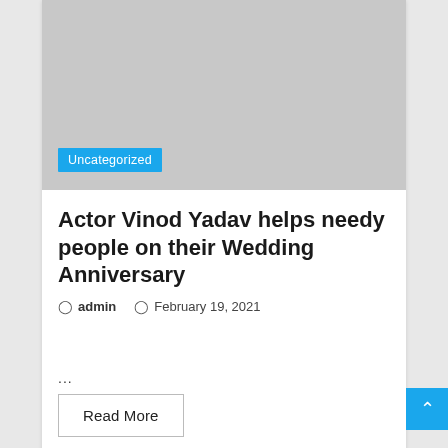[Figure (photo): Gray placeholder image for article thumbnail with 'Uncategorized' badge in blue at bottom left]
Actor Vinod Yadav helps needy people on their Wedding Anniversary
admin  February 19, 2021
...
Read More